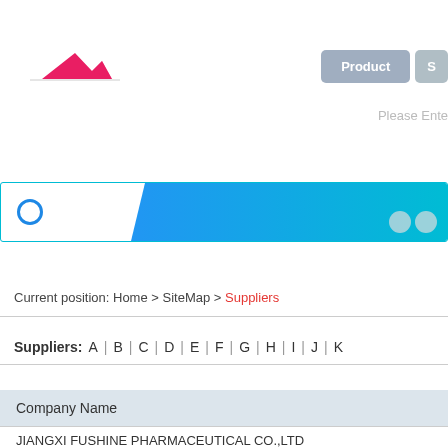[Figure (logo): Red/pink mountain peak logo mark]
Product   S
Please Ente
[Figure (screenshot): Navigation tab bar with blue circle icon, blue-to-teal ribbon, and navigation elements]
Current position: Home > SiteMap > Suppliers
Suppliers: A | B | C | D | E | F | G | H | I | J | K
| Company Name |
| --- |
| JIANGXI FUSHINE PHARMACEUTICAL CO.,LTD |